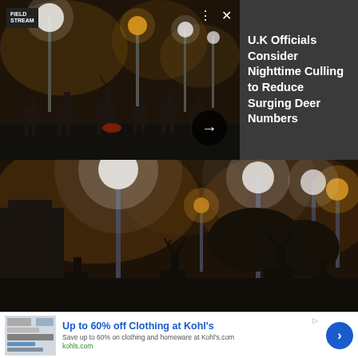[Figure (photo): Night scene with deer silhouettes standing near street lamps in foggy conditions, small thumbnail version]
U.K Officials Consider Nighttime Culling to Reduce Surging Deer Numbers
[Figure (photo): Large night scene with deer silhouettes standing near tall street lamps in foggy, orange-tinted urban park setting]
[Figure (screenshot): Advertisement for Kohl's: Up to 60% off Clothing at Kohl's. Save up to 60% on clothing and homeware at Kohl's.com. kohls.com]